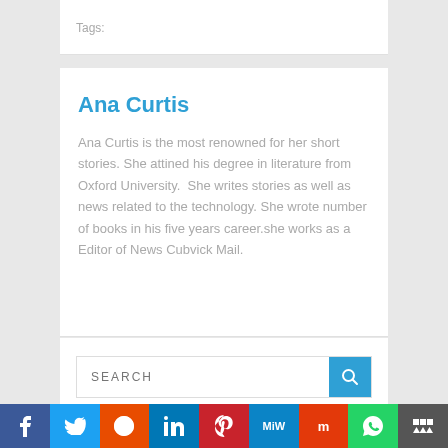Tags:
Ana Curtis
Ana Curtis is the most renowned for her short stories. She attined his degree in literature from Oxford University.  She writes stories as well as news related to the technology. She wrote number of books in his five years career.she works as a Editor of News Cubvick Mail.
SEARCH